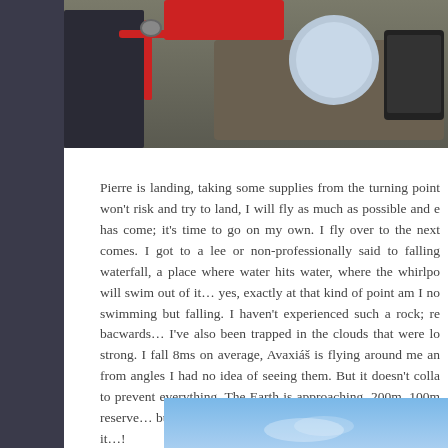[Figure (photo): Top portion of a photo showing a person in dark clothing with paragliding or kite equipment, red straps, a helmet, and electronic device visible]
Pierre is landing, taking some supplies from the turning point won't risk and try to land, I will fly as much as possible and e has come; it's time to go on my own. I fly over to the next comes. I got to a lee or non-professionally said to falling waterfall, a place where water hits water, where the whirlpo will swim out of it… yes, exactly at that kind of point am I no swimming but falling. I haven't experienced such a rock; re bacwards… I've also been trapped in the clouds that were lo strong. I fall 8ms on average, Avaxiáš is flying around me an from angles I had no idea of seeing them. But it doesn't colla to prevent everything. The Earth is approaching, 200m, 100m reserve… but why? I'm falling 8 now, plus 6, that will be 14… it…!
[Figure (photo): Bottom portion showing a blue sky with faint clouds, possibly a paragliding scene]